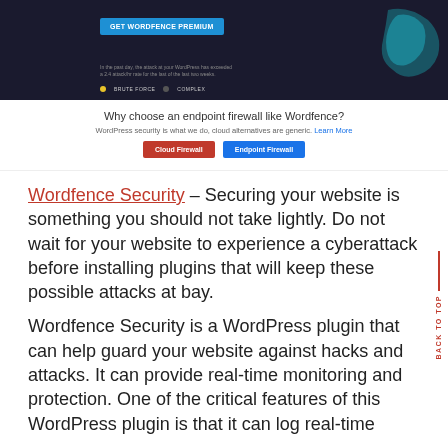[Figure (screenshot): Screenshot of Wordfence website with dark background, a blue 'GET WORDFENCE PREMIUM' button, small text, legend dots, and a teal map graphic on the right.]
[Figure (screenshot): Wordfence firewall comparison section with the heading 'Why choose an endpoint firewall like Wordfence?', a subtitle with 'Learn More' link, and two buttons: red 'Cloud Firewall' and blue 'Endpoint Firewall'.]
Wordfence Security – Securing your website is something you should not take lightly. Do not wait for your website to experience a cyberattack before installing plugins that will keep these possible attacks at bay.
Wordfence Security is a WordPress plugin that can help guard your website against hacks and attacks. It can provide real-time monitoring and protection. One of the critical features of this WordPress plugin is that it can log real-time